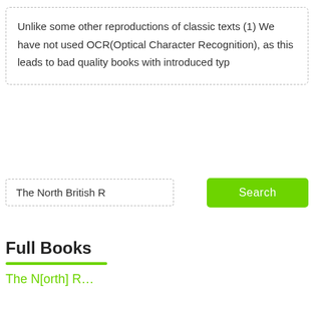Unlike some other reproductions of classic texts (1) We have not used OCR(Optical Character Recognition), as this leads to bad quality books with introduced typ
The North British R
Search
Full Books
The N[orth] R...